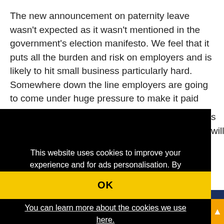The new announcement on paternity leave wasn't expected as it wasn't mentioned in the government's election manifesto. We feel that it puts all the burden and risk on employers and is likely to hit small business particularly hard. Somewhere down the line employers are going to come under huge pressure to make it paid …s will
This website uses cookies to improve your experience and for ads personalisation. By continuing to browse this site you are agreeing to our use of these cookies. You can learn more about the cookies we use here.
OK
REGIS